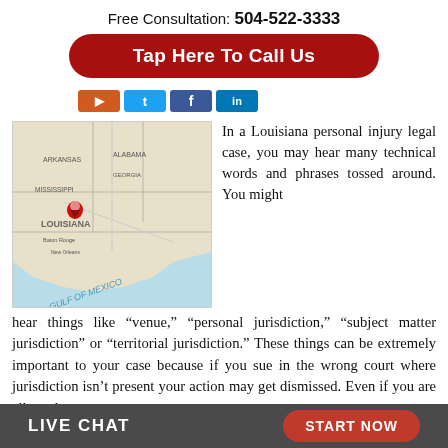Free Consultation: 504-522-3333
Tap Here To Call Us
[Figure (map): Map of Louisiana and surrounding southeastern US states with a red pin marker placed near Shreveport, Louisiana. The Gulf of Mexico is labeled at the bottom.]
In a Louisiana personal injury legal case, you may hear many technical words and phrases tossed around. You might hear things like “venue,” “personal jurisdiction,” “subject matter jurisdiction” or “territorial jurisdiction.” These things can be extremely important to your case because if you sue in the wrong court where jurisdiction isn’t present your action may get dismissed. Even if you are allowed
LIVE CHAT   START NOW